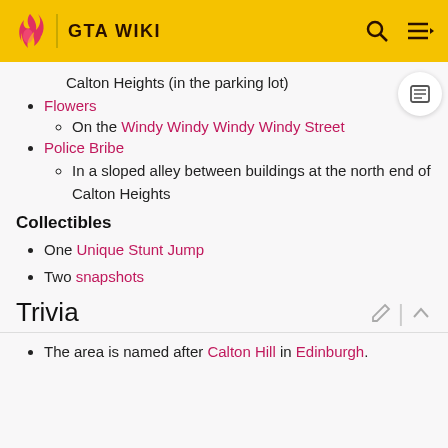GTA WIKI
Calton Heights (in the parking lot)
Flowers
On the Windy Windy Windy Windy Street
Police Bribe
In a sloped alley between buildings at the north end of Calton Heights
Collectibles
One Unique Stunt Jump
Two snapshots
Trivia
The area is named after Calton Hill in Edinburgh.